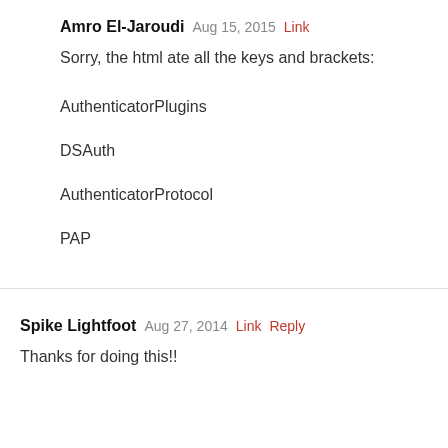Amro El-Jaroudi  Aug 15, 2015  Link
Sorry, the html ate all the keys and brackets:
AuthenticatorPlugins
DSAuth
AuthenticatorProtocol
PAP
Spike Lightfoot  Aug 27, 2014  Link  Reply
Thanks for doing this!!